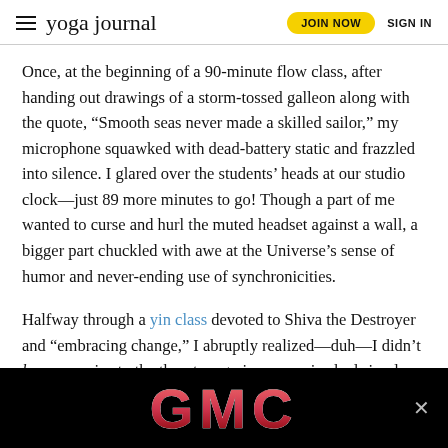yoga journal | JOIN NOW  SIGN IN
Once, at the beginning of a 90-minute flow class, after handing out drawings of a storm-tossed galleon along with the quote, “Smooth seas never made a skilled sailor,” my microphone squawked with dead-battery static and frazzled into silence. I glared over the students’ heads at our studio clock—just 89 more minutes to go! Though a part of me wanted to curse and hurl the muted headset against a wall, a bigger part chuckled with awe at the Universe’s sense of humor and never-ending use of synchronicities.
Halfway through a yin class devoted to Shiva the Destroyer and “embracing change,” I abruptly realized—duh—I didn’t lose my voice to the throat surgeries, my voice had simply changed into something new. Not better, not worse, just diff...
[Figure (other): GMC advertisement banner with red metallic GMC logo on black background with close button]